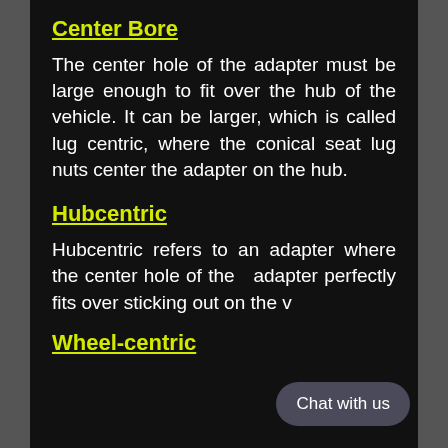Center Bore
The center hole of the adapter must be large enough to fit over the hub of the vehicle. It can be larger, which is called lug centric, where the conical seat lug nuts center the adapter on the hub.
Hubcentric
Hubcentric refers to an adapter where the center hole of the adapter perfectly fits over sticking out on the v
Wheel-centric